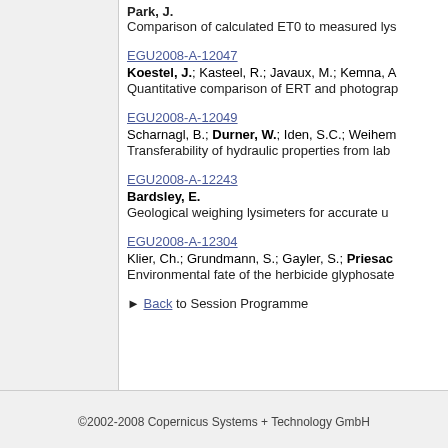Park, J.; Comparison of calculated ET0 to measured lys
EGU2008-A-12047
Koestel, J.; Kasteel, R.; Javaux, M.; Kemna, A
Quantitative comparison of ERT and photograp
EGU2008-A-12049
Scharnagl, B.; Durner, W.; Iden, S.C.; Weihem
Transferability of hydraulic properties from lab
EGU2008-A-12243
Bardsley, E.
Geological weighing lysimeters for accurate u
EGU2008-A-12304
Klier, Ch.; Grundmann, S.; Gayler, S.; Priesac
Environmental fate of the herbicide glyphosate
Back to Session Programme
©2002-2008 Copernicus Systems + Technology GmbH